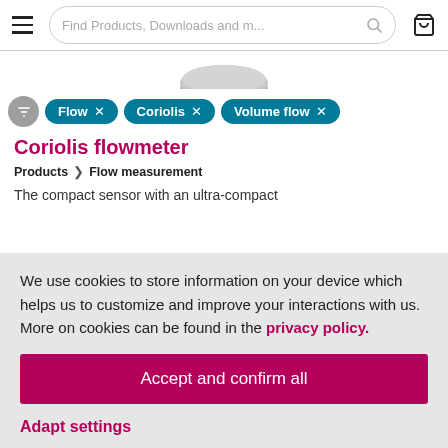Find Products, Downloads and m...
[Figure (screenshot): Partial product image of Coriolis flowmeter sensor, showing rounded gray disc top]
Flow × Coriolis × Volume flow ×
Coriolis flowmeter
Products > Flow measurement
The compact sensor with an ultra-compact
We use cookies to store information on your device which helps us to customize and improve your interactions with us. More on cookies can be found in the privacy policy.
Accept and confirm all
Adapt settings